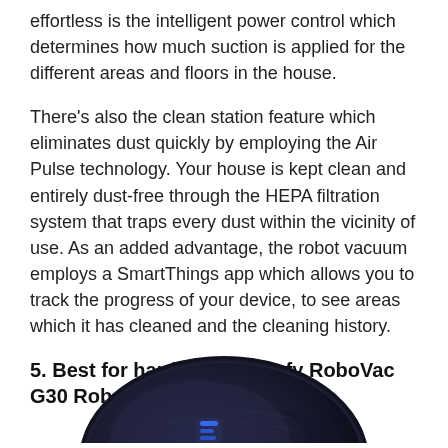effortless is the intelligent power control which determines how much suction is applied for the different areas and floors in the house.
There's also the clean station feature which eliminates dust quickly by employing the Air Pulse technology. Your house is kept clean and entirely dust-free through the HEPA filtration system that traps every dust within the vicinity of use. As an added advantage, the robot vacuum employs a SmartThings app which allows you to track the progress of your device, to see areas which it has cleaned and the cleaning history.
5. Best for hard floors – Eufy RoboVac G30 Robot Vacuum
[Figure (photo): Photo of a black round robot vacuum cleaner (Eufy RoboVac G30), viewed from slightly above at an angle, showing the top and front of the device with blue indicator lights.]